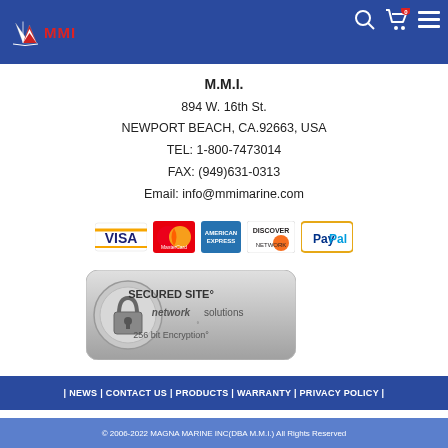MMI - Magna Marine Inc
M.M.I.
894 W. 16th St.
NEWPORT BEACH, CA.92663, USA
TEL: 1-800-7473014
FAX: (949)631-0313
Email: info@mmimarine.com
[Figure (logo): Payment method logos: VISA, MasterCard, American Express, Discover, PayPal]
[Figure (logo): Secured Site - Network Solutions 256 bit Encryption badge with padlock icon]
| NEWS | CONTACT US | PRODUCTS | WARRANTY | PRIVACY POLICY |
© 2006-2022 MAGNA MARINE INC(DBA M.M.I.) All Rights Reserved